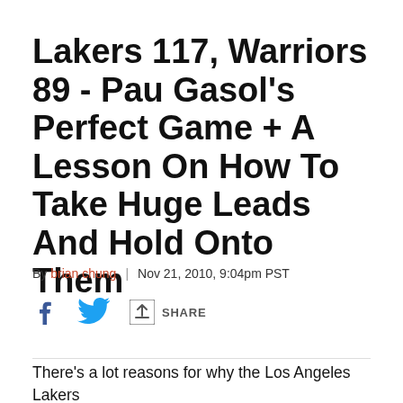Lakers 117, Warriors 89 - Pau Gasol's Perfect Game + A Lesson On How To Take Huge Leads And Hold Onto Them
By brian chung | Nov 21, 2010, 9:04pm PST
[Figure (infographic): Social share icons: Facebook, Twitter, and a share arrow with SHARE label]
There's a lot reasons for why the Los Angeles Lakers are better than the Golden State Warriors. But one that